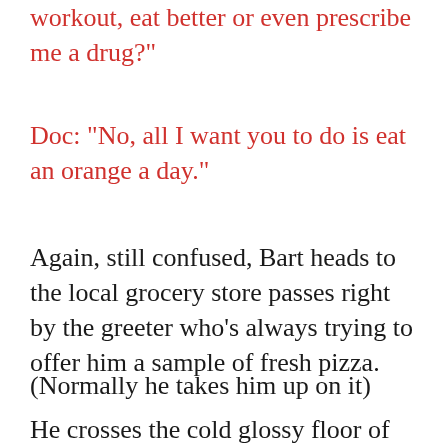workout, eat better or even prescribe me a drug?"
Doc: "No, all I want you to do is eat an orange a day."
Again, still confused, Bart heads to the local grocery store passes right by the greeter who's always trying to offer him a sample of fresh pizza.
(Normally he takes him up on it)
He crosses the cold glossy floor of the produce section, grabs 7 oranges (one for each day), and b-